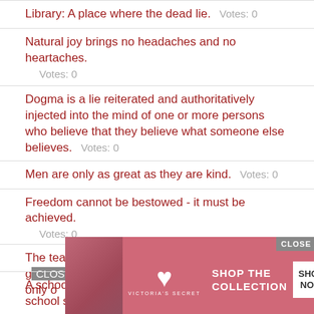Library: A place where the dead lie.   Votes: 0
Natural joy brings no headaches and no heartaches.
Votes: 0
Dogma is a lie reiterated and authoritatively injected into the mind of one or more persons who believe that they believe what someone else believes.   Votes: 0
Men are only as great as they are kind.   Votes: 0
Freedom cannot be bestowed - it must be achieved.
Votes: 0
The teacher is one who makes two ideas grow where only one grew before.
[Figure (screenshot): Victoria's Secret advertisement banner with close button, showing a model, Victoria's Secret logo, 'SHOP THE COLLECTION' text, and 'SHOP NOW' button on pink background]
A school should not be a preparation for life. A school should be life.   Votes: 0